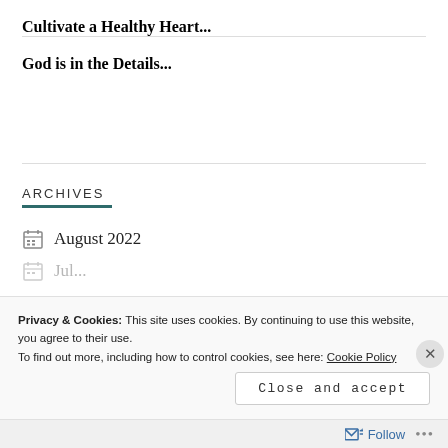Cultivate a Healthy Heart...
God is in the Details...
ARCHIVES
August 2022
July 2022
Privacy & Cookies: This site uses cookies. By continuing to use this website, you agree to their use.
To find out more, including how to control cookies, see here: Cookie Policy
Close and accept
Follow ...